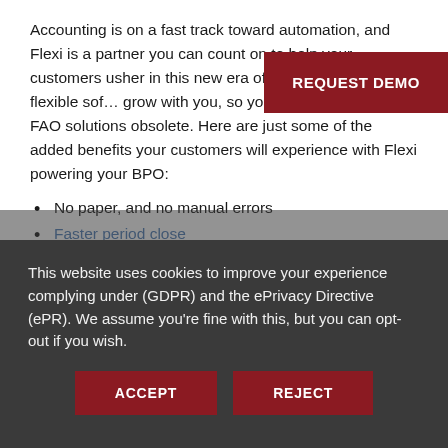Accounting is on a fast track toward automation, and Flexi is a partner you can count on to help your customers usher in this new era of productivity. Flexi's flexible sof… grow with you, so you'll never find your FAO solutions obsolete. Here are just some of the added benefits your customers will experience with Flexi powering your BPO:
No paper, and no manual errors
Faster period close
Real-time financial updates – whenever and wherever needed
Standardized workflow with built-in approvals
Mobile access to financials through any device
This website uses cookies to improve your experience complying under (GDPR) and the ePrivacy Directive (ePR). We assume you're fine with this, but you can opt-out if you wish.